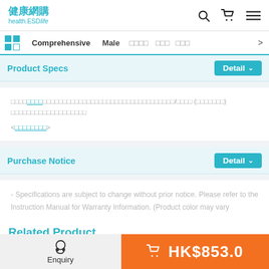健康網購 health.ESDlife
Comprehensive  Male  [nav items]
Product Specs  Detail
text in Chinese with links <link text>
Purchase Notice  Detail
- Specifications are subject to change without prior notice. Please refer to the Instruction Manual for Warranty Information. (Product color may vary
Related Product
Enquiry  HK$853.0